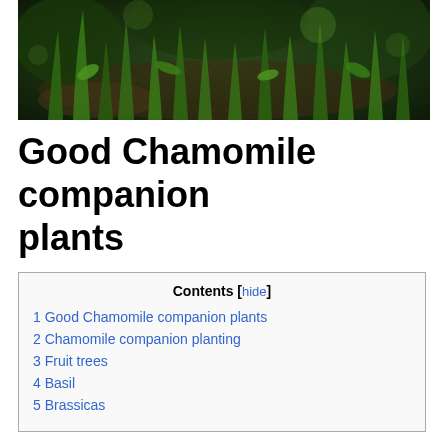[Figure (photo): Close-up photo of green leafy plants and grass on soil, dark background with bokeh effect]
Good Chamomile companion plants
| Contents [hide] |
| 1 Good Chamomile companion plants |
| 2 Chamomile companion planting |
| 3 Fruit trees |
| 4 Basil |
| 5 Brassicas |